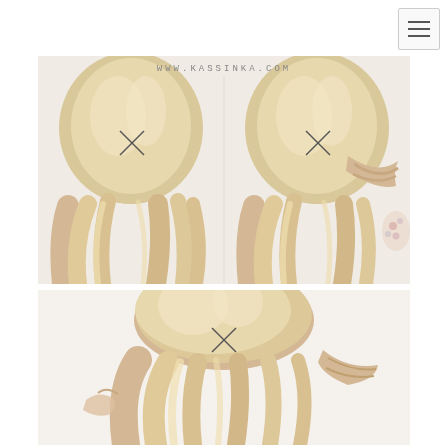[Figure (illustration): Navigation menu button (hamburger icon) in top right corner]
[Figure (photo): Tutorial photo collage from www.kassinka.com showing a woman's blonde hair styled in a half-up crossed pin hairstyle. Top panel shows two side-by-side steps: left shows the back of a woman's head with a cross-pin half-up hairdo with loose wavy hair down, right shows the same style with a braid being pulled through. Bottom panel shows the final result from a different angle.]